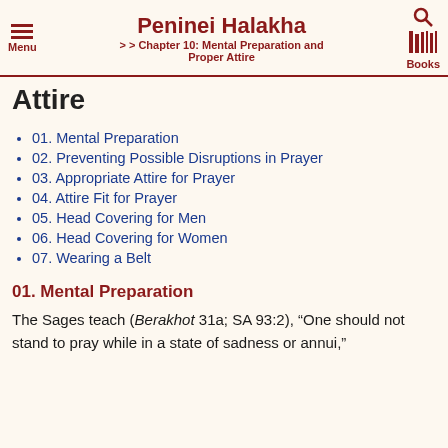Menu | Peninei Halakha | > > Chapter 10: Mental Preparation and Proper Attire | Books
Attire
01. Mental Preparation
02. Preventing Possible Disruptions in Prayer
03. Appropriate Attire for Prayer
04. Attire Fit for Prayer
05. Head Covering for Men
06. Head Covering for Women
07. Wearing a Belt
01. Mental Preparation
The Sages teach (Berakhot 31a; SA 93:2), “One should not stand to pray while in a state of sadness or annui.”